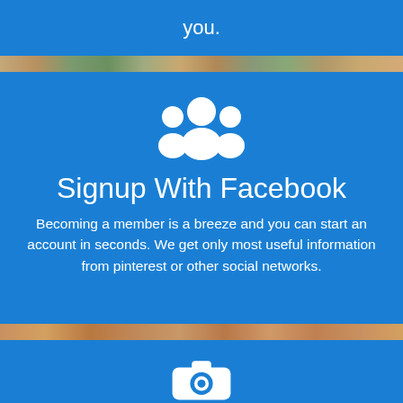you.
[Figure (illustration): White group/people icon on blue background representing social signup]
Signup With Facebook
Becoming a member is a breeze and you can start an account in seconds. We get only most useful information from pinterest or other social networks.
[Figure (illustration): White camera icon on blue background]
Search For Singles By Relationship Type